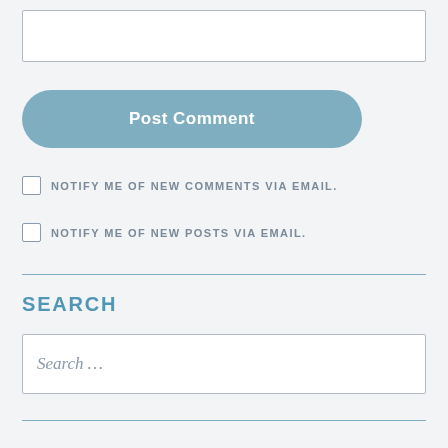[Figure (other): Text input box (comment field)]
Post Comment
NOTIFY ME OF NEW COMMENTS VIA EMAIL.
NOTIFY ME OF NEW POSTS VIA EMAIL.
SEARCH
[Figure (other): Search input field with placeholder text 'Search ...']